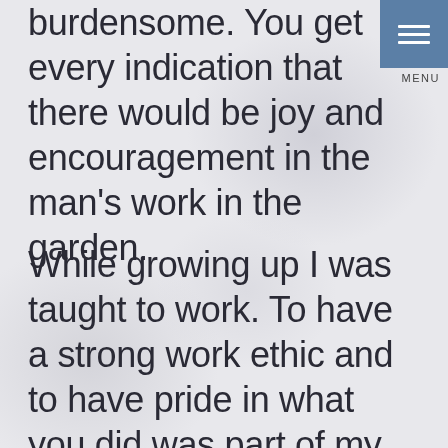burdensome. You get every indication that there would be joy and encouragement in the man's work in the garden.
While growing up I was taught to work. To have a strong work ethic and to have pride in what you did was part of my upbringing. The necessity of making a living